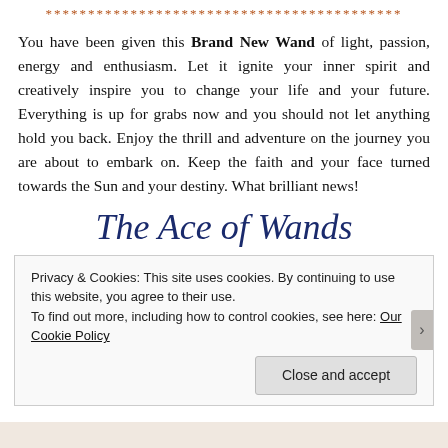******************************************
You have been given this Brand New Wand of light, passion, energy and enthusiasm. Let it ignite your inner spirit and creatively inspire you to change your life and your future. Everything is up for grabs now and you should not let anything hold you back. Enjoy the thrill and adventure on the journey you are about to embark on. Keep the faith and your face turned towards the Sun and your destiny. What brilliant news!
The Ace of Wands
Privacy & Cookies: This site uses cookies. By continuing to use this website, you agree to their use.
To find out more, including how to control cookies, see here: Our Cookie Policy
Close and accept